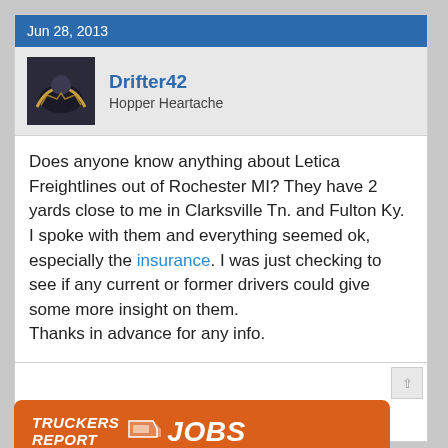Jun 28, 2013
[Figure (photo): User avatar thumbnail showing a dark nighttime truck/vehicle scene]
Drifter42
Hopper Heartache
Does anyone know anything about Letica Freightlines out of Rochester MI? They have 2 yards close to me in Clarksville Tn. and Fulton Ky. I spoke with them and everything seemed ok, especially the insurance. I was just checking to see if any current or former drivers could give some more insight on them.
Thanks in advance for any info.
Jun 28, 2013
+ Quote  Reply
[Figure (logo): Truckers Report Jobs orange banner with truck icon and bold italic JOBS text]